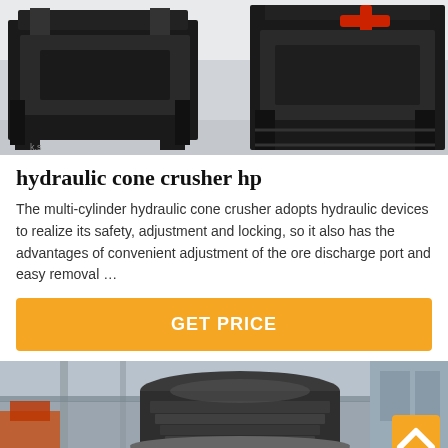[Figure (photo): Industrial hydraulic cone crusher machines in a factory/warehouse setting, showing heavy black steel frame equipment]
hydraulic cone crusher hp
The multi-cylinder hydraulic cone crusher adopts hydraulic devices to realize its safety, adjustment and locking, so it also has the advantages of convenient adjustment of the ore discharge port and easy removal …
GET PRICE
[Figure (photo): Close-up view of a large industrial cone crusher machine in a factory, showing detailed mechanical components]
Leave Message
Chat Online